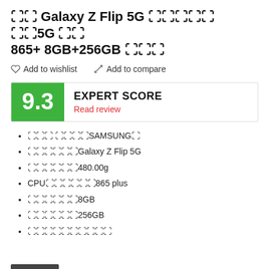�� Galaxy Z Flip 5G ������ ��5G �� 865+ 8GB+256GB ���
Add to wishlist   Add to compare
[Figure (infographic): Expert Score badge showing 9.3 in green box with EXPERT SCORE label and Read review link]
��� ����SAMSUNG️
������Galaxy Z Flip 5G
������480.00g
CPU������865 plus
������8GB
������256GB
����������